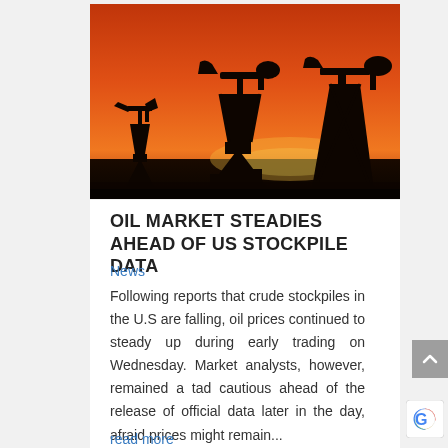[Figure (photo): Silhouettes of oil pump jacks against a dramatic orange and red sunset sky]
OIL MARKET STEADIES AHEAD OF US STOCKPILE DATA
News
Following reports that crude stockpiles in the U.S are falling, oil prices continued to steady up during early trading on Wednesday. Market analysts, however, remained a tad cautious ahead of the release of official data later in the day, afraid prices might remain...
read more